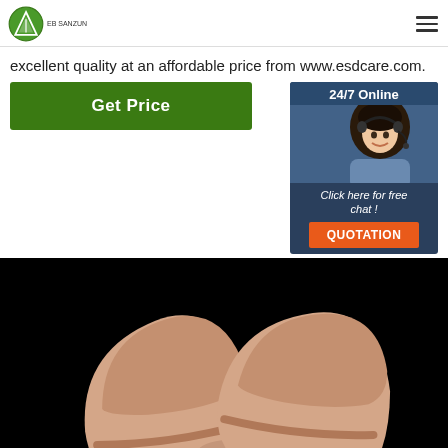EB SANZUN logo with hamburger menu
excellent quality at an affordable price from www.esdcare.com.
[Figure (other): Green 'Get Price' button and a 24/7 Online chat widget with a woman wearing a headset, 'Click here for free chat!' text, and orange QUOTATION button]
[Figure (photo): Two beige/tan ESD slippers photographed against a black background, viewed from above at a slight angle showing the toe area]